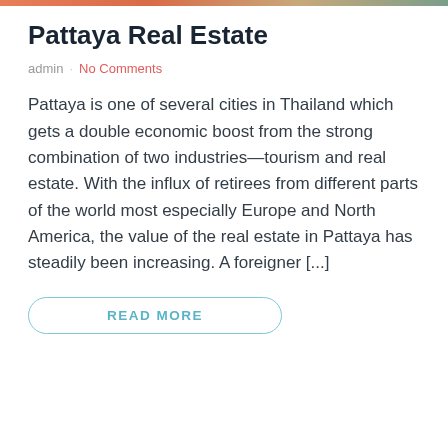[Figure (photo): Top image strip showing a partial photograph]
Pattaya Real Estate
admin · No Comments
Pattaya is one of several cities in Thailand which gets a double economic boost from the strong combination of two industries—tourism and real estate. With the influx of retirees from different parts of the world most especially Europe and North America, the value of the real estate in Pattaya has steadily been increasing. A foreigner [...]
READ MORE